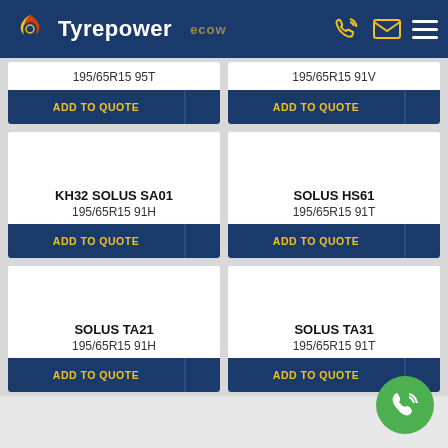Tyrepower
195/65R15 95T
ADD TO QUOTE
195/65R15 91V
ADD TO QUOTE
KH32 SOLUS SA01
195/65R15 91H
ADD TO QUOTE
SOLUS HS61
195/65R15 91T
ADD TO QUOTE
SOLUS TA21
195/65R15 91H
ADD TO QUOTE
SOLUS TA31
195/65R15 91T
ADD TO QUOTE